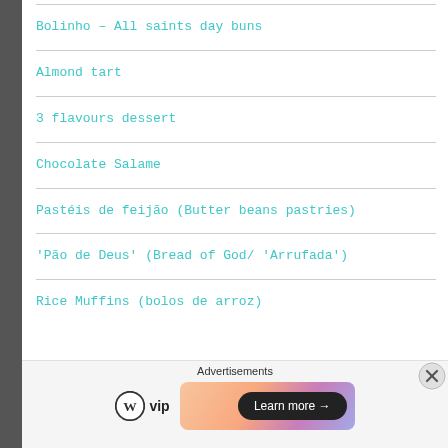Bolinho – All saints day buns
Almond tart
3 flavours dessert
Chocolate Salame
Pastéis de feijão (Butter beans pastries)
'Pão de Deus' (Bread of God/ 'Arrufada')
Rice Muffins (bolos de arroz)
Advertisements